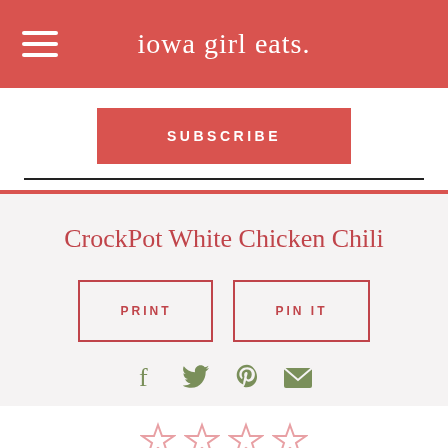iowa girl eats.
SUBSCRIBE
CrockPot White Chicken Chili
PRINT
PIN IT
[Figure (other): Social share icons: Facebook, Twitter, Pinterest, Email]
[Figure (other): Star rating row with partially filled stars]